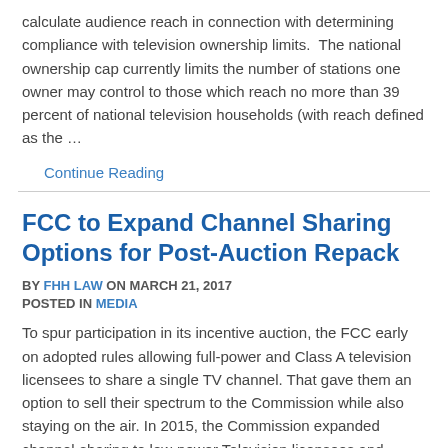calculate audience reach in connection with determining compliance with television ownership limits.  The national ownership cap currently limits the number of stations one owner may control to those which reach no more than 39 percent of national television households (with reach defined as the …
Continue Reading
FCC to Expand Channel Sharing Options for Post-Auction Repack
BY FHH LAW ON MARCH 21, 2017
POSTED IN MEDIA
To spur participation in its incentive auction, the FCC early on adopted rules allowing full-power and Class A television licensees to share a single TV channel. That gave them an option to sell their spectrum to the Commission while also staying on the air. In 2015, the Commission expanded channel-sharing to low-power Television licensees and …
Continue Reading